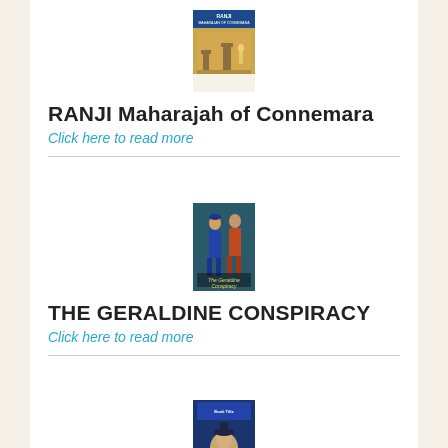[Figure (illustration): Book cover for RANJI Maharajah of Connemara - shows a castle/landscape scene with blue banner]
RANJI Maharajah of Connemara
Click here to read more
[Figure (illustration): Book cover for THE GERALDINE CONSPIRACY - shows two medieval costumed figures]
THE GERALDINE CONSPIRACY
Click here to read more
[Figure (illustration): Book cover for a third book - partially visible at bottom of page]